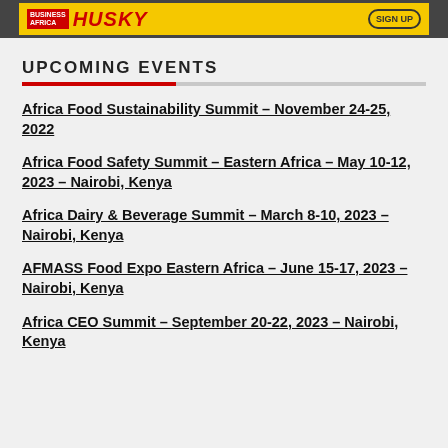[Figure (other): Business Africa Husky banner advertisement with yellow background, red Husky logo text, and Sign Up button]
UPCOMING EVENTS
Africa Food Sustainability Summit – November 24-25, 2022
Africa Food Safety Summit – Eastern Africa – May 10-12, 2023 – Nairobi, Kenya
Africa Dairy & Beverage Summit – March 8-10, 2023 – Nairobi, Kenya
AFMASS Food Expo Eastern Africa – June 15-17, 2023 – Nairobi, Kenya
Africa CEO Summit – September 20-22, 2023 – Nairobi, Kenya